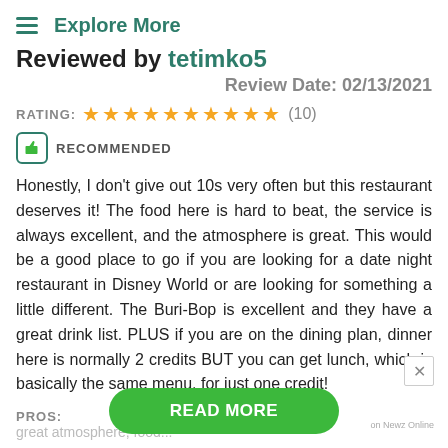≡ Explore More
Reviewed by tetimko5
Review Date: 02/13/2021
RATING: ★★★★★★★★★★ (10)
RECOMMENDED
Honestly, I don't give out 10s very often but this restaurant deserves it! The food here is hard to beat, the service is always excellent, and the atmosphere is great. This would be a good place to go if you are looking for a date night restaurant in Disney World or are looking for something a little different. The Buri-Bop is excellent and they have a great drink list. PLUS if you are on the dining plan, dinner here is normally 2 credits BUT you can get lunch, which is basically the same menu, for just one credit!
PROS:
great atmosphere, food...
READ MORE